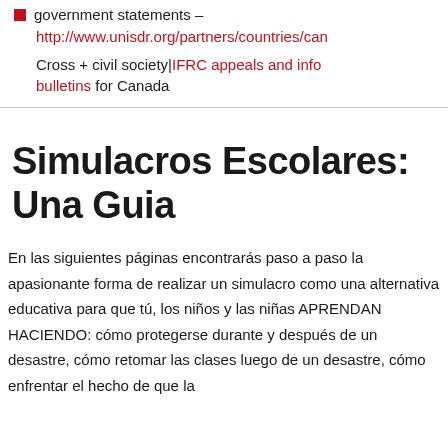government statements – http://www.unisdr.org/partners/countries/can
Cross + civil society|IFRC appeals and info bulletins for Canada
Simulacros Escolares: Una Guia
En las siguientes páginas encontrarás paso a paso la apasionante forma de realizar un simulacro como una alternativa educativa para que tú, los niños y las niñas APRENDAN HACIENDO: cómo protegerse durante y después de un desastre, cómo retomar las clases luego de un desastre, cómo enfrentar el hecho de que la